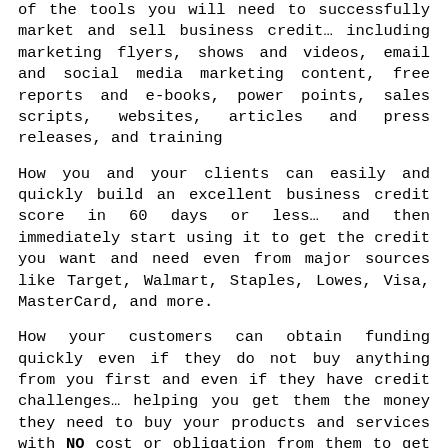of the tools you will need to successfully market and sell business credit… including marketing flyers, shows and videos, email and social media marketing content, free reports and e-books, power points, sales scripts, websites, articles and press releases, and training
How you and your clients can easily and quickly build an excellent business credit score in 60 days or less… and then immediately start using it to get the credit you want and need even from major sources like Target, Walmart, Staples, Lowes, Visa, MasterCard, and more.
How your customers can obtain funding quickly even if they do not buy anything from you first and even if they have credit challenges… helping you get them the money they need to buy your products and services with NO cost or obligation from them to get started.
How you can prosper and be part of the business financing industry that is currently EXPLODING with growth… and gain the ability to help others and make money without regulation headaches or other hurdles that are common with consumer industries
How you can leave the show and be able to instantly own your own business credit and financing business getting